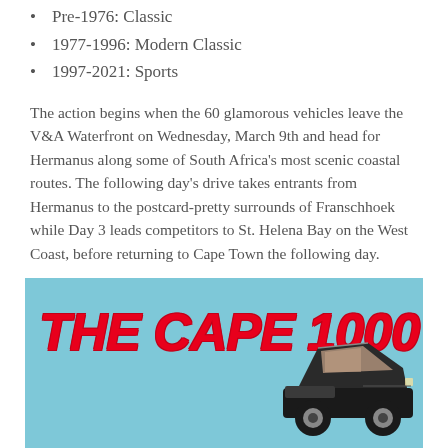Pre-1976: Classic
1977-1996: Modern Classic
1997-2021: Sports
The action begins when the 60 glamorous vehicles leave the V&A Waterfront on Wednesday, March 9th and head for Hermanus along some of South Africa's most scenic coastal routes. The following day's drive takes entrants from Hermanus to the postcard-pretty surrounds of Franschhoek while Day 3 leads competitors to St. Helena Bay on the West Coast, before returning to Cape Town the following day.
[Figure (illustration): The Cape 1000 event poster/logo on a light blue background showing 'THE CAPE 1000' in bold red italic text with a partial illustration of a classic car on the right side.]